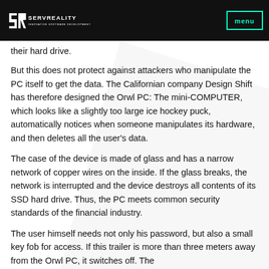SERVREALITY — INNOVATIVE SOFTWARE DEVELOPMENT | menu
their hard drive.
But this does not protect against attackers who manipulate the PC itself to get the data. The Californian company Design Shift has therefore designed the Orwl PC: The mini-COMPUTER, which looks like a slightly too large ice hockey puck, automatically notices when someone manipulates its hardware, and then deletes all the user's data.
The case of the device is made of glass and has a narrow network of copper wires on the inside. If the glass breaks, the network is interrupted and the device destroys all contents of its SSD hard drive. Thus, the PC meets common security standards of the financial industry.
The user himself needs not only his password, but also a small key fob for access. If this trailer is more than three meters away from the Orwl PC, it switches off. The